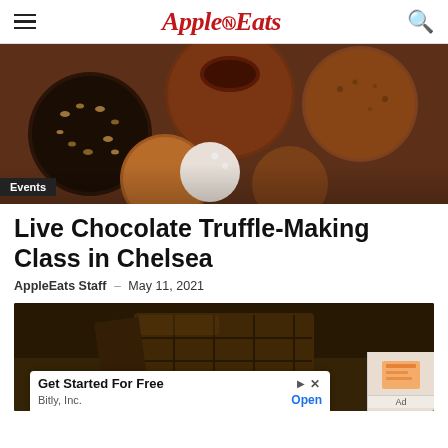AppleEats
[Figure (photo): Close-up photo of various chocolate truffles — some coated with rice cereal/crisped rice, some dusted with cocoa powder, one with a bite taken out showing chocolate interior.]
Events
Live Chocolate Truffle-Making Class in Chelsea
AppleEats Staff – May 11, 2021
[Figure (photo): Close-up photo of a dark chocolate bar broken into segments on a wooden surface with warm sepia tones.]
Get Started For Free — Bitly, Inc. — Open — Ad